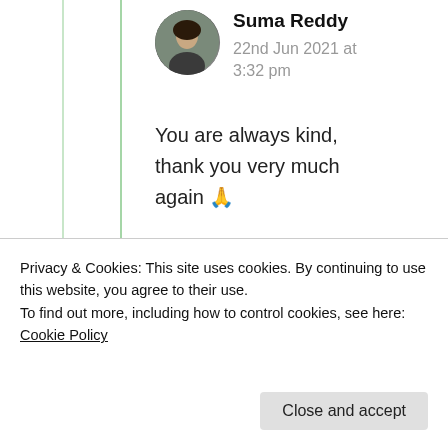Suma Reddy
22nd Jun 2021 at 3:32 pm
You are always kind, thank you very much again 🙏
★ Liked by 1 person
KK
Privacy & Cookies: This site uses cookies. By continuing to use this website, you agree to their use. To find out more, including how to control cookies, see here: Cookie Policy
Close and accept